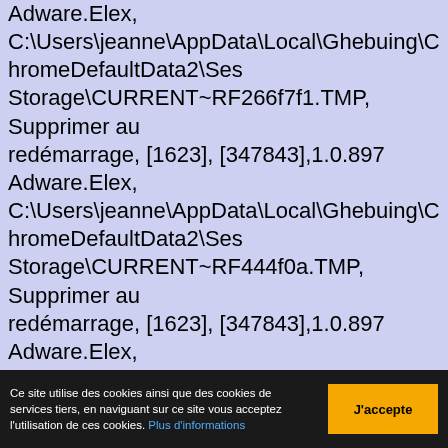Adware.Elex, C:\Users\jeanne\AppData\Local\Ghebuing\ChromeDefaultData2\SessionStorage\CURRENT~RF266f7f1.TMP, Supprimer au redémarrage, [1623], [347843],1.0.897
Adware.Elex, C:\Users\jeanne\AppData\Local\Ghebuing\ChromeDefaultData2\SessionStorage\CURRENT~RF444f0a.TMP, Supprimer au redémarrage, [1623], [347843],1.0.897
Adware.Elex, C:\Users\jeanne\AppData\Local\Ghebuing\ChromeDefaultData2\SessionStorage\CURRENT~RFe9742a.TMP, Supprimer au redémarrage, [1623], [347843],1.0.897
Adware.Elex, C:\Users\jeanne\AppData\Local\Ghebuing\ChromeDefaultData2\SessionStorage\LOCK, Supprimer au redémarrage, [1623], [347843],1.0.897
Adware.Elex, C:\Users\jeanne\AppData\Local\Ghebuing\ChromeDefaultData2\SessionStorage\LOG, Supprimer au redémarrage, [1623], [347843],1.0.897
Ce site utilise des cookies ainsi que des cookies de services tiers, en naviguant sur ce site vous acceptez l'utilisation de ces cookies. Plus d'informations